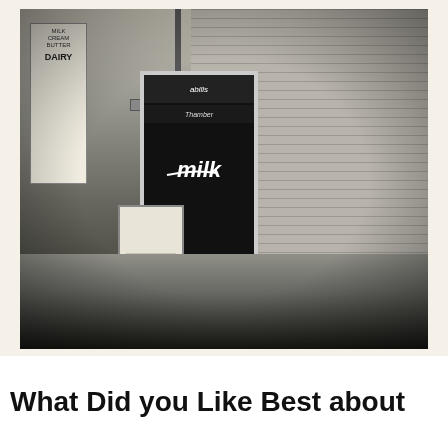[Figure (photo): Black and white photograph of a dairy store exterior. Features a brick wall building, a milk banner sign on the left, a large black window sign reading 'Milk' in stylized italic lettering, a utility pole, a street sign, and a small sidewalk sandwich board sign reading 'Ice Cream'. Trees visible in the background on the left.]
What Did you Like Best about